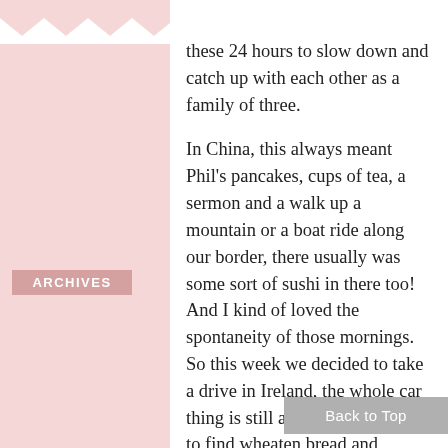these 24 hours to slow down and catch up with each other as a family of three.
In China, this always meant Phil's pancakes, cups of tea, a sermon and a walk up a mountain or a boat ride along our border, there usually was some sort of sushi in there too! And I kind of loved the spontaneity of those mornings. So this week we decided to take a drive in Ireland, the whole car thing is still a bit of novelty and to find wheaten bread and homemade soup along the way...welllllllll it was lovely.
These past few weeks have been difficult. Building upon the past, thinking of distant friends, praying for the future and trying to enjoy the present. We know God has us here for a purpose and we're constantly seeking out what